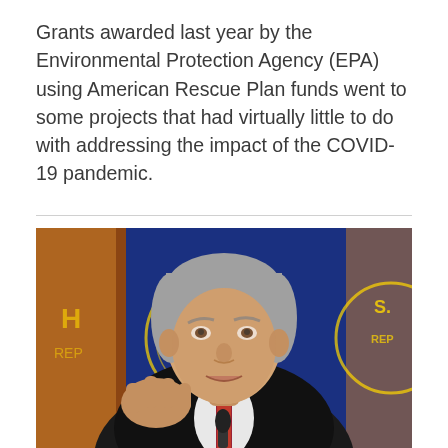Grants awarded last year by the Environmental Protection Agency (EPA) using American Rescue Plan funds went to some projects that had virtually little to do with addressing the impact of the COVID-19 pandemic.
[Figure (photo): A man in a dark suit with a red tie gesturing with his right hand while speaking, with U.S. House of Representatives flags visible in the background.]